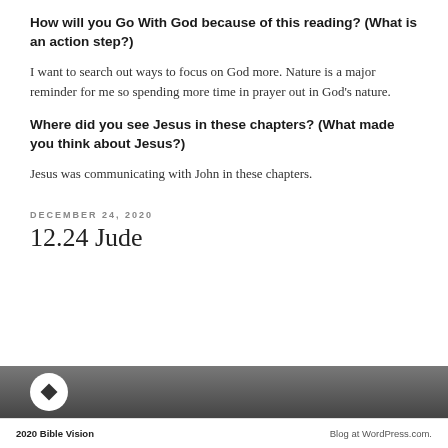How will you Go With God because of this reading? (What is an action step?)
I want to search out ways to focus on God more. Nature is a major reminder for me so spending more time in prayer out in God's nature.
Where did you see Jesus in these chapters? (What made you think about Jesus?)
Jesus was communicating with John in these chapters.
DECEMBER 24, 2020
12.24 Jude
[Figure (photo): A dark photograph with a circular logo/icon in the bottom-left area, showing people in the background]
2020 Bible Vision    Blog at WordPress.com.